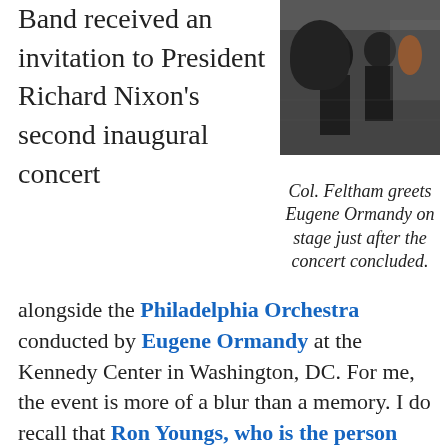Band received an invitation to President Richard Nixon's second inaugural concert alongside the Philadelphia Orchestra conducted by Eugene Ormandy at the Kennedy Center in Washington, DC. For me, the event is more of a blur than a memory. I do recall that Ron Youngs, who is the person responsible for recording nearly all the music here on this website, recorded the inaugural concert on a
[Figure (photo): Photo of Col. Feltham greeting Eugene Ormandy on stage after the concert, with military personnel visible in the background.]
Col. Feltham greets Eugene Ormandy on stage just after the concert concluded.